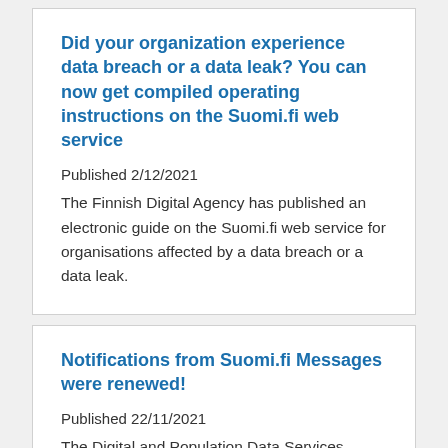Did your organization experience data breach or a data leak? You can now get compiled operating instructions on the Suomi.fi web service
Published 2/12/2021
The Finnish Digital Agency has published an electronic guide on the Suomi.fi web service for organisations affected by a data breach or a data leak.
Notifications from Suomi.fi Messages were renewed!
Published 22/11/2021
The Digital and Population Data Services Agency